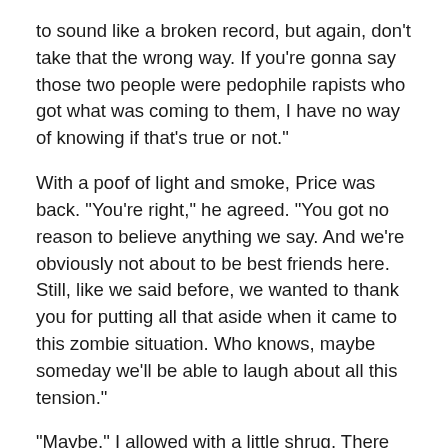to sound like a broken record, but again, don’t take that the wrong way. If you’re gonna say those two people were pedophile rapists who got what was coming to them, I have no way of knowing if that’s true or not.”
With a poof of light and smoke, Price was back. “You’re right,” he agreed. “You got no reason to believe anything we say. And we’re obviously not about to be best friends here. Still, like we said before, we wanted to thank you for putting all that aside when it came to this zombie situation. Who knows, maybe someday we’ll be able to laugh about all this tension.”
“Maybe,” I allowed with a little shrug. There was no sense in being needlessly hostile. Not only did I really want to avoid a fight right now, but I needed the Ministry to continue seeing me as not a threat. They knew that I knew